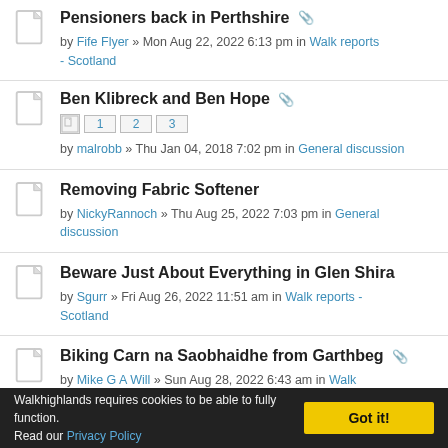Pensioners back in Perthshire — by Fife Flyer » Mon Aug 22, 2022 6:13 pm in Walk reports - Scotland
Ben Klibreck and Ben Hope — pages 1 2 3 — by malrobb » Thu Jan 04, 2018 7:02 pm in General discussion
Removing Fabric Softener — by NickyRannoch » Thu Aug 25, 2022 7:03 pm in General discussion
Beware Just About Everything in Glen Shira — by Sgurr » Fri Aug 26, 2022 11:51 am in Walk reports - Scotland
Biking Carn na Saobhaidhe from Garthbeg — by Mike G A Will » Sun Aug 28, 2022 6:43 am in Walk Reports...
Walkhighlands requires cookies to be able to fully function. Read our Privacy Policy — Got it!